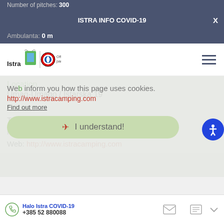Number of pitches: 300
ISTRA INFO COVID-19
Ambulanta: 0 m
[Figure (logo): Istra logo with goat and flag, FC Bayern München official partner logo]
Location
Umag-Umago / Istarska 19
Contact
Tel.: +385 052 700700
Mail: booking@istracamping.com
Web: http://www.istracamping.com
We inform you how this page uses cookies.
http://www.istracamping.com
Find out more
I understand!
Halo Istra COVID-19
+385 52 880088